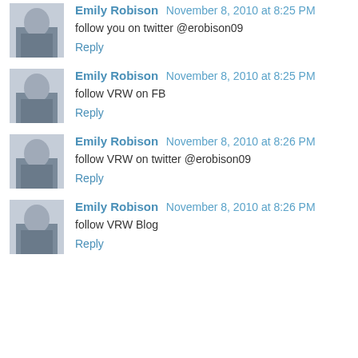Emily Robison November 8, 2010 at 8:25 PM
follow you on twitter @erobison09
Reply
Emily Robison November 8, 2010 at 8:25 PM
follow VRW on FB
Reply
Emily Robison November 8, 2010 at 8:26 PM
follow VRW on twitter @erobison09
Reply
Emily Robison November 8, 2010 at 8:26 PM
follow VRW Blog
Reply